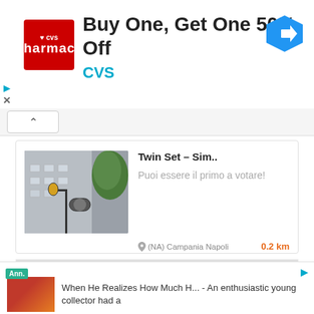[Figure (screenshot): CVS Pharmacy advertisement banner with red logo, 'Buy One, Get One 50% Off' headline, 'CVS' brand name in blue, and a blue navigation arrow icon]
Twin Set – Sim..
Puoi essere il primo a votare!
(NA) Campania Napoli
0.2 km
Parrucchiere Berriol..
Puoi essere il primo a votare!
(NA) Campania Napoli
0.2 km
Ann.
When He Realizes How Much H... - An enthusiastic young collector had a